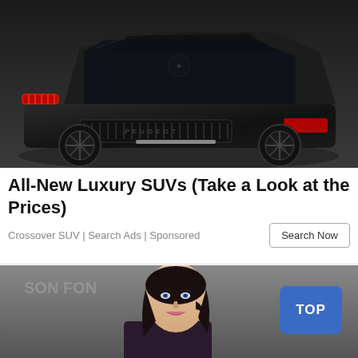[Figure (photo): A dark matte black Peugeot concept SUV/car viewed from rear-quarter angle, showing red tail lights and stylized wheel design against white background.]
All-New Luxury SUVs (Take a Look at the Prices)
Crossover SUV | Search Ads | Sponsored
[Figure (photo): A young woman with dark wavy hair and blue eyes smiling at camera, at what appears to be an awards event. A blue 'TOP' button overlaid in bottom right.]